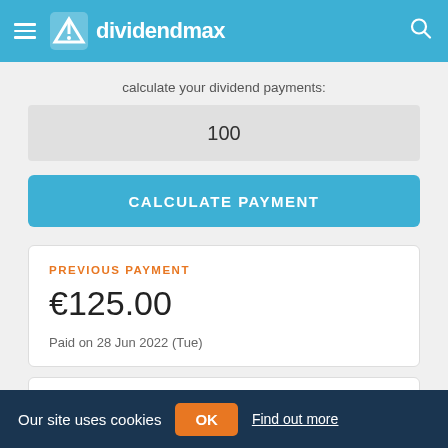dividendmax
calculate your dividend payments:
100
CALCULATE PAYMENT
PREVIOUS PAYMENT
€125.00
Paid on 28 Jun 2022 (Tue)
NEXT PAYMENT
Our site uses cookies
OK
Find out more